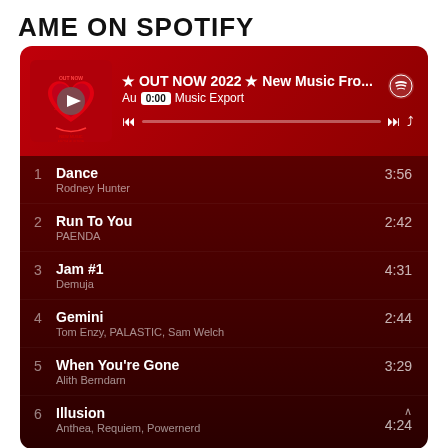AME ON SPOTIFY
[Figure (screenshot): Spotify player widget showing playlist '★ OUT NOW 2022 ★ New Music Fro...' by Austrian Music Export with album art (New Music From Austria logo), playback controls, progress bar at 0:00, and Spotify logo. Below are 6 tracks listed with artist names and durations.]
1  Dance  3:56
Rodney Hunter
2  Run To You  2:42
PAENDA
3  Jam #1  4:31
Demuja
4  Gemini  2:44
Tom Enzy, PALASTIC, Sam Welch
5  When You're Gone  3:29
Alith Berndarn
6  Illusion  4:24
Anthea, Requiem, Powernerd